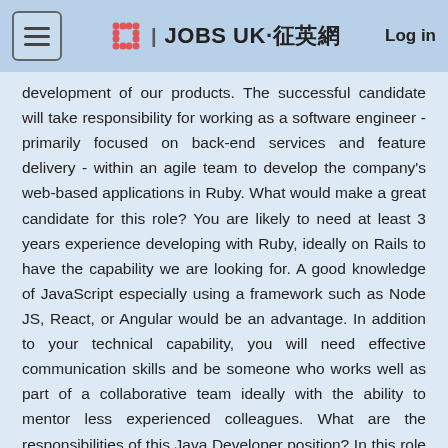JOBS UK·征英網  Log in
development of our products. The successful candidate will take responsibility for working as a software engineer - primarily focused on back-end services and feature delivery - within an agile team to develop the company's web-based applications in Ruby. What would make a great candidate for this role? You are likely to need at least 3 years experience developing with Ruby, ideally on Rails to have the capability we are looking for. A good knowledge of JavaScript especially using a framework such as Node JS, React, or Angular would be an advantage. In addition to your technical capability, you will need effective communication skills and be someone who works well as part of a collaborative team ideally with the ability to mentor less experienced colleagues. What are the responsibilities of this Java Developer position? In this role you will be using your Ruby on Rails skills to develop web-based application that add real value in a market were your work is a force for good. You will perform automated and